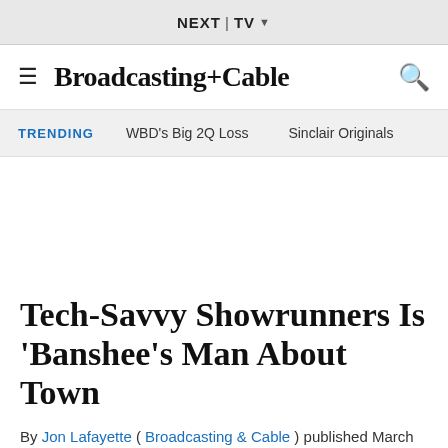NEXT TV
Broadcasting+Cable
TRENDING   WBD's Big 2Q Loss   Sinclair Originals
Tech-Savvy Showrunners Is 'Banshee's Man About Town
By Jon Lafayette ( Broadcasting & Cable ) published March 18, 2013